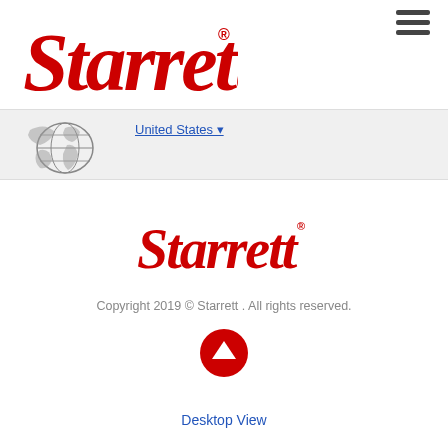[Figure (logo): Starrett red italic brand logo in header, large size]
[Figure (screenshot): Globe/world map icon with 'United States' dropdown link in subheader gray bar]
[Figure (logo): Starrett red italic brand logo in footer, medium size]
Copyright 2019 © Starrett . All rights reserved.
[Figure (other): Red circular up-arrow button]
Desktop View